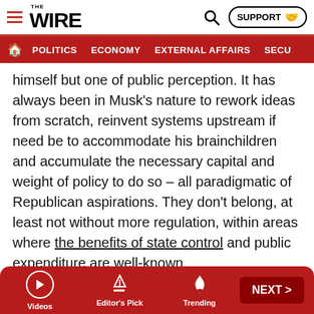THE WIRE — navigation: POLITICS, ECONOMY, EXTERNAL AFFAIRS, SECU...
himself but one of public perception. It has always been in Musk's nature to rework ideas from scratch, reinvent systems upstream if need be to accommodate his brainchildren and accumulate the necessary capital and weight of policy to do so – all paradigmatic of Republican aspirations. They don't belong, at least not without more regulation, within areas where the benefits of state control and public expenditure are well-known.
When his SpaceX launched reusable rockets – so penetrating one of the least regulated human territories – and when his Tesla made electric cars and power-storage batteries – so entering a market desperately looking for
Videos | Editor's Pick | Trending | NEXT >